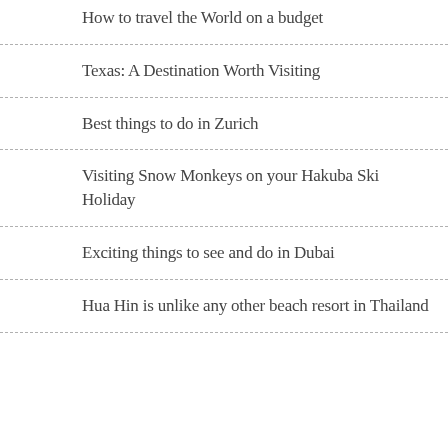How to travel the World on a budget
Texas: A Destination Worth Visiting
Best things to do in Zurich
Visiting Snow Monkeys on your Hakuba Ski Holiday
Exciting things to see and do in Dubai
Hua Hin is unlike any other beach resort in Thailand